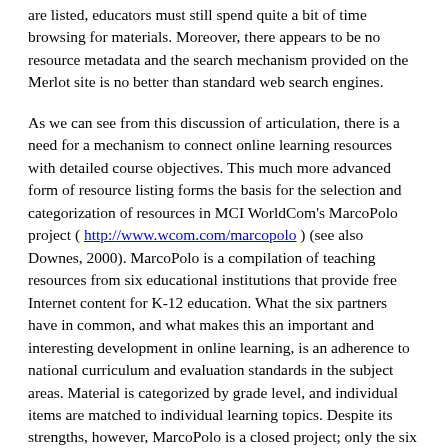are listed, educators must still spend quite a bit of time browsing for materials. Moreover, there appears to be no resource metadata and the search mechanism provided on the Merlot site is no better than standard web search engines.
As we can see from this discussion of articulation, there is a need for a mechanism to connect online learning resources with detailed course objectives. This much more advanced form of resource listing forms the basis for the selection and categorization of resources in MCI WorldCom's MarcoPolo project ( http://www.wcom.com/marcopolo ) (see also Downes, 2000). MarcoPolo is a compilation of teaching resources from six educational institutions that provide free Internet content for K-12 education. What the six partners have in common, and what makes this an important and interesting development in online learning, is an adherence to national curriculum and evaluation standards in the subject areas. Material is categorized by grade level, and individual items are matched to individual learning topics. Despite its strengths, however, MarcoPolo is a closed project; only the six member institutions contribute content. There is no centralized search facility and no metadata listings for the resources. The only curricula supported are United States school curricula, so the resource is not useful in a global marketplace.
Other resources are available, but these three sites typify the